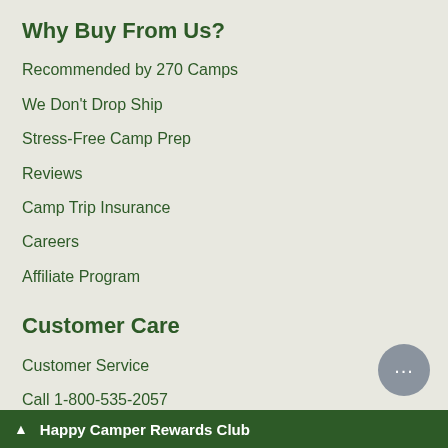Why Buy From Us?
Recommended by 270 Camps
We Don't Drop Ship
Stress-Free Camp Prep
Reviews
Camp Trip Insurance
Careers
Affiliate Program
Customer Care
Customer Service
Call 1-800-535-2057
Privacy Policy
No Sweat Returns
▲ Happy Camper Rewards Club